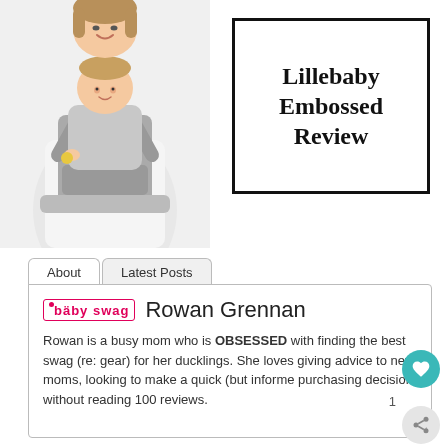[Figure (photo): Woman wearing a gray Lillebaby baby carrier with a toddler in it, standing against white background]
Lillebaby Embossed Review
About | Latest Posts
baby swag  Rowan Grennan
Rowan is a busy mom who is OBSESSED with finding the best swag (re: gear) for her ducklings. She loves giving advice to new moms, looking to make a quick (but informed) purchasing decision without reading 100 reviews.